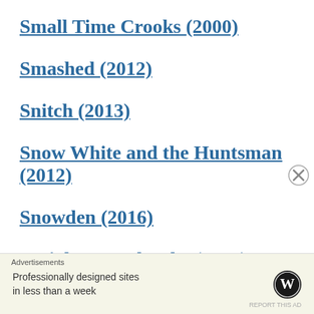Small Time Crooks (2000)
Smashed (2012)
Snitch (2013)
Snow White and the Huntsman (2012)
Snowden (2016)
Social Network, The (2010)